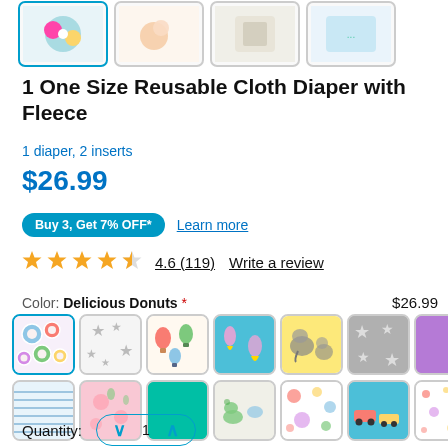[Figure (photo): Four product thumbnail images showing cloth diaper variations; first is selected with blue border]
1 One Size Reusable Cloth Diaper with Fleece
1 diaper, 2 inserts
$26.99
Buy 3, Get 7% OFF*   Learn more
4.6 (119)   Write a review
Color: Delicious Donuts *   $26.99
[Figure (photo): Two rows of color swatch thumbnails for cloth diaper patterns; first row shows 8 swatches including donuts (selected), stars, hot air balloons, mermaids, elephants, grey stars, purple solid, pink partial; second row shows 8 more swatches]
Quantity:   1